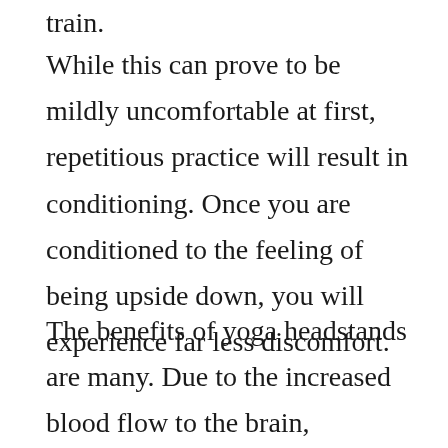train.
While this can prove to be mildly uncomfortable at first, repetitious practice will result in conditioning. Once you are conditioned to the feeling of being upside down, you will experience far less discomfort.
The benefits of yoga headstands are many. Due to the increased blood flow to the brain, participants can expect improved focus and